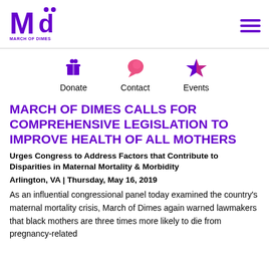[Figure (logo): March of Dimes logo — stylized 'Md' in purple with 'MARCH OF DIMES' text below]
[Figure (infographic): Navigation icons row: Donate (purple gift/present icon), Contact (pink speech bubble icon), Events (purple star icon) with labels below each]
MARCH OF DIMES CALLS FOR COMPREHENSIVE LEGISLATION TO IMPROVE HEALTH OF ALL MOTHERS
Urges Congress to Address Factors that Contribute to Disparities in Maternal Mortality & Morbidity
Arlington, VA | Thursday, May 16, 2019
As an influential congressional panel today examined the country's maternal mortality crisis, March of Dimes again warned lawmakers that black mothers are three times more likely to die from pregnancy-related